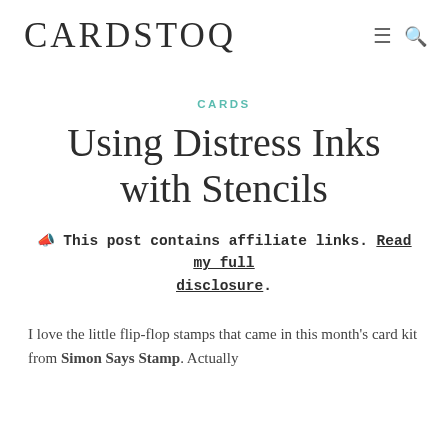CARDSTOQ
CARDS
Using Distress Inks with Stencils
📢 This post contains affiliate links. Read my full disclosure.
I love the little flip-flop stamps that came in this month's card kit from Simon Says Stamp. Actually